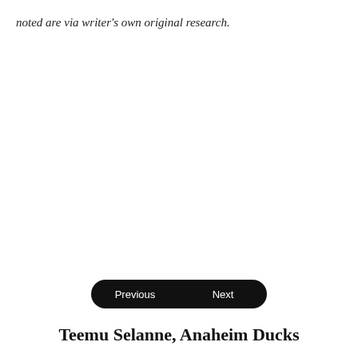noted are via writer's own original research.
Teemu Selanne, Anaheim Ducks